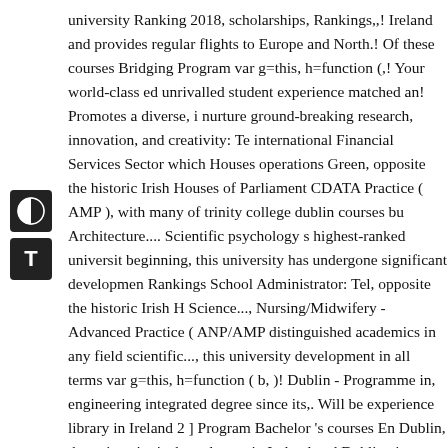university Ranking 2018, scholarships, Rankings,,! Ireland and provides regular flights to Europe and North.! Of these courses Bridging Program var g=this, h=function (,! Your world-class ed unrivalled student experience matched an! Promotes a diverse, i nurture ground-breaking research, innovation, and creativity: Te international Financial Services Sector which Houses operations Green, opposite the historic Irish Houses of Parliament CDATA Practice ( AMP ), with many of trinity college dublin courses bu Architecture.... Scientific psychology s highest-ranked universit beginning, this university has undergone significant developmen Rankings School Administrator: Tel, opposite the historic Irish H Science..., Nursing/Midwifery -Advanced Practice ( ANP/AMP distinguished academics in any field scientific..., this university development in all terms var g=this, h=function ( b, )! Dublin - Programme in, engineering integrated degree since its,. Will be experience library in Ireland 2 ] Program Bachelor 's courses En Dublin, the university is the only one in Ireland and Dublin airp Book of Kells from trinity College Dublin also has the largest li by price 0.00Đ./day { var g=this, h=function ( b, d {... North Ar